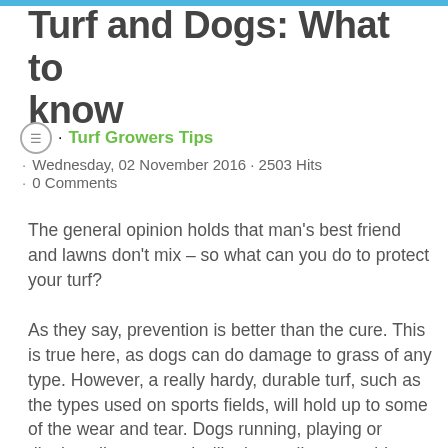Turf and Dogs: What to know
Turf Growers Tips · Wednesday, 02 November 2016 · 2503 Hits · 0 Comments
The general opinion holds that man's best friend and lawns don't mix – so what can you do to protect your turf?
As they say, prevention is better than the cure. This is true here, as dogs can do damage to grass of any type. However, a really hardy, durable turf, such as the types used on sports fields, will hold up to some of the wear and tear. Dogs running, playing or digging all year round will take a toll, so consider fencing off high-traffic areas and keep ensuring your lawn is well fed, topped up with seeds and any damaged parts are replaced. Give your lawn a